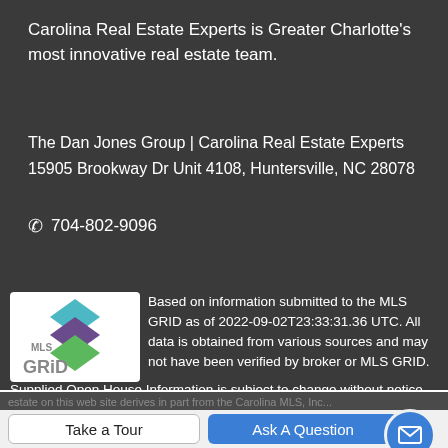Carolina Real Estate Experts is Greater Charlotte's most innovative real estate team.
The Dan Jones Group | Carolina Real Estate Experts
15905 Brookway Dr Unit 4108, Huntersville, NC 28078
📞 704-802-9096
[Figure (logo): MLS GRID logo with stacked colored diamond shapes above text]
Based on information submitted to the MLS GRID as of 2022-09-02T23:33:31.36 UTC. All data is obtained from various sources and may not have been verified by broker or MLS GRID. Supplied Open House Information is subject to change without notice. All information should be independently reviewed and verified for accuracy. Properties may or may not be listed by the office/agent presenting the information.The data relating to real estate on this web site derives in part from the Carolina MLS, Inc...